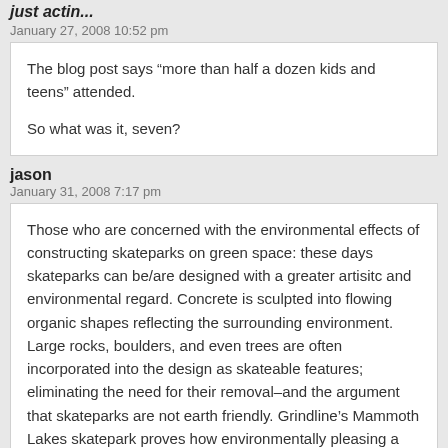just actin...
January 27, 2008 10:52 pm
The blog post says “more than half a dozen kids and teens” attended.

So what was it, seven?
jason
January 31, 2008 7:17 pm
Those who are concerned with the environmental effects of constructing skateparks on green space: these days skateparks can be/are designed with a greater artisitc and environmental regard. Concrete is sculpted into flowing organic shapes reflecting the surrounding environment. Large rocks, boulders, and even trees are often incorporated into the design as skateable features; eliminating the need for their removal–and the argument that skateparks are not earth friendly. Grindline’s Mammoth Lakes skatepark proves how environmentally pleasing a skatepark design could be. It just takes some open minded thought and creativity.
manual